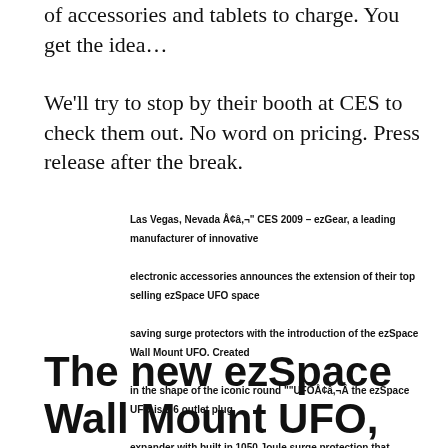of accessories and tablets to charge. You get the idea…
We'll try to stop by their booth at CES to check them out. No word on pricing. Press release after the break.
Las Vegas, Nevada Â¢â,¬" CES 2009 – ezGear, a leading manufacturer of innovative electronic accessories announces the extension of their top selling ezSpace UFO space saving surge protectors with the introduction of the ezSpace Wall Mount UFO. Created in the shape of the iconic round ""UFOÂ¢â,¬Â the ezSpace UFO is a 6 outlet plug expander with built in 1050 Joule surge protection that provides space for a large plug or transformer on each outlet.
The new ezSpace Wall Mount UFO, the 6th product in the ezSpace